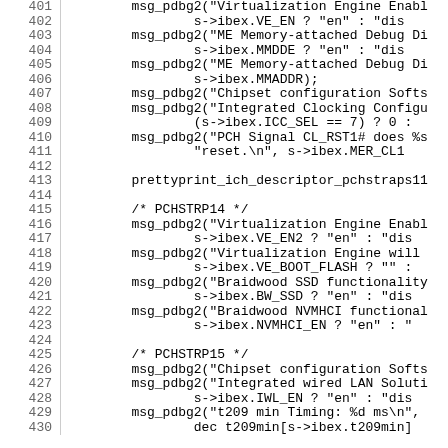[Figure (screenshot): Source code listing lines 401-430 showing C code with msg_pdbg2 function calls related to PCH/ICH descriptor configuration including Virtualization Engine, ME Memory Debug, Chipset configuration, Integrated Clocking, PCH Signal, Braidwood SSD, NVMHCI, and IWL settings.]